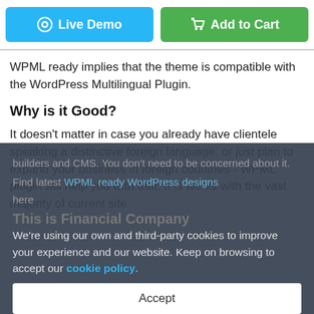[Figure (other): Two buttons: blue 'Live Demo' button and green 'Add to Cart' button]
WPML ready implies that the theme is compatible with the WordPress Multilingual Plugin.
Why is it Good?
It doesn't matter in case you already have clientele speaking a distinctive foreign language, or just plan to expand your business in foreign countries - WPML plugin will help you with that. It is works with the vast majority of current site builders and CMS. You don't need to be concerned about it.
Find latest WPML ready WordPress designs here
This is Financial Company
We're using our own and third-party cookies to improve your experience and our website. Keep on browsing to accept our cookie policy.
Accept